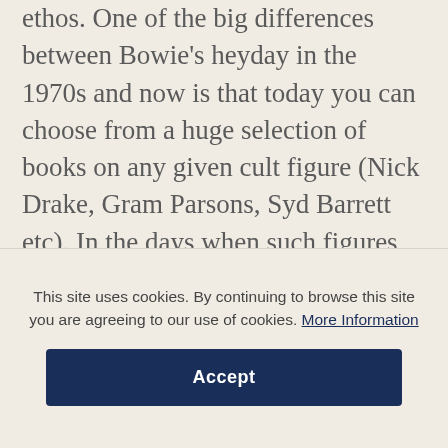ethos. One of the big differences between Bowie's heyday in the 1970s and now is that today you can choose from a huge selection of books on any given cult figure (Nick Drake, Gram Parsons, Syd Barrett etc). In the days when such figures were active you had to be satisfied with an occasional music-press annual, or the lyrics printed in your girlfriend's Jackie, or, if you were really lucky, a title like The Sociology of Riff (no photos or illustrations). Maybe one of the reasons the 1970s were such an incredibly creative time is that we weren't all
This site uses cookies. By continuing to browse this site you are agreeing to our use of cookies. More Information
Accept